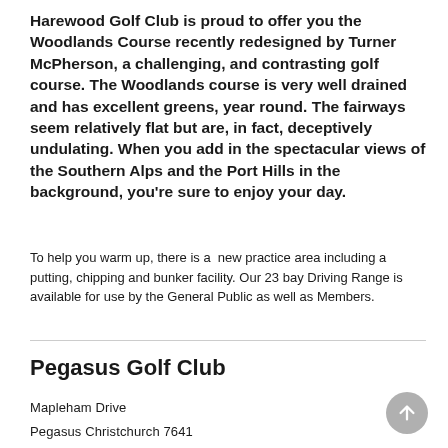Harewood Golf Club is proud to offer you the Woodlands Course recently redesigned by Turner McPherson, a challenging, and contrasting golf course. The Woodlands course is very well drained and has excellent greens, year round. The fairways seem relatively flat but are, in fact, deceptively undulating. When you add in the spectacular views of the Southern Alps and the Port Hills in the background, you're sure to enjoy your day.
To help you warm up, there is a new practice area including a putting, chipping and bunker facility. Our 23 bay Driving Range is available for use by the General Public as well as Members.
Pegasus Golf Club
Mapleham Drive
Pegasus Christchurch 7641